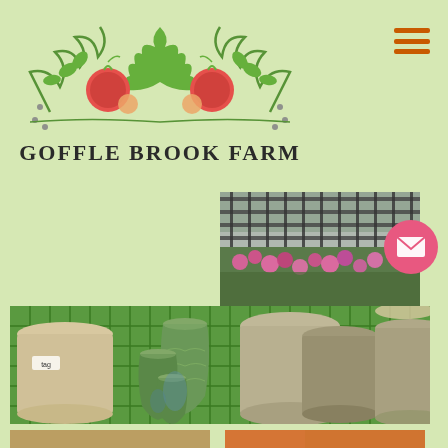[Figure (logo): Goffle Brook Farm logo with green leaf and red apple decorations, text reads GOFFLE BROOK FARM]
[Figure (illustration): Hamburger menu icon with three orange-brown horizontal bars]
[Figure (photo): Pink flowers and plants in a greenhouse with metal fence/gate behind]
[Figure (illustration): Pink circular email/envelope button icon]
[Figure (photo): Various ceramic and stone garden pots displayed on green metal grid shelving — cream colored pots, blue-green glazed vases, and speckled gray cylindrical pots]
[Figure (photo): Partial view of bottom strip showing wooden items on left and colorful items on right]